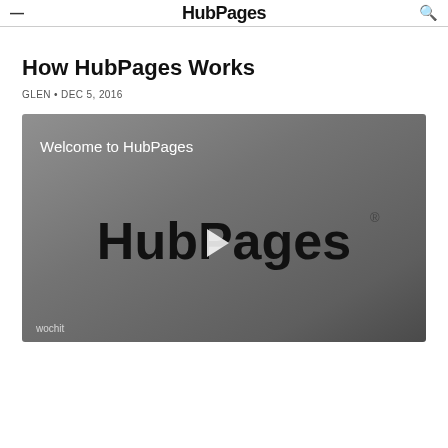HubPages
How HubPages Works
GLEN • DEC 5, 2016
[Figure (screenshot): Video thumbnail showing 'Welcome to HubPages' text over a dark grey background with the HubPages logo and a play button in the center. Wochit branding in the bottom left.]